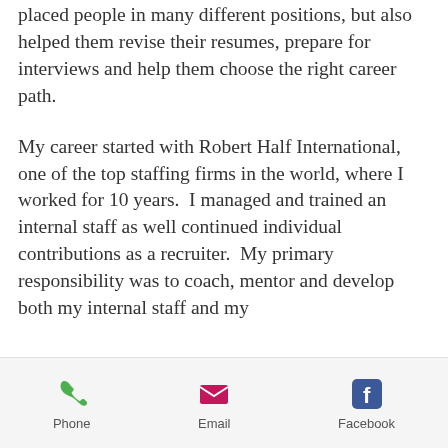placed people in many different positions, but also helped them revise their resumes, prepare for interviews and help them choose the right career path.
My career started with Robert Half International, one of the top staffing firms in the world, where I worked for 10 years.  I managed and trained an internal staff as well continued individual contributions as a recruiter.  My primary responsibility was to coach, mentor and develop both my internal staff and my
Phone | Email | Facebook